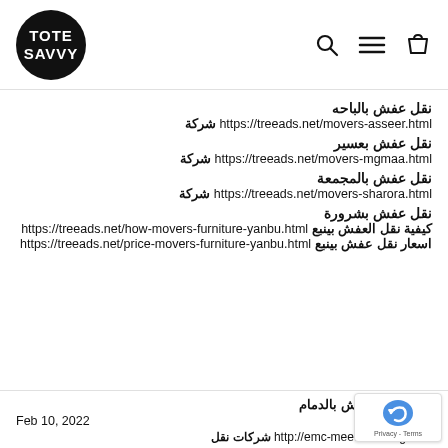[Figure (logo): Tote Savvy black circle logo with white text 'TOTE SAVVY' and navigation icons (search, menu, bag)]
نقل عفش بالباحه
شركة https://treeads.net/movers-asseer.html
نقل عفش بعسير
شركة https://treeads.net/movers-mgmaa.html
نقل عفش بالمجمعة
شركة https://treeads.net/movers-sharora.html
نقل عفش بشرورة
https://treeads.net/how-movers-furniture-yanbu.html كيفية نقل العفش بينبع
https://treeads.net/price-movers-furniture-yanbu.html اسعار نقل عفش بينبع
شركة نقل عفش بالدمام
Feb 10, 2022
شركات نقل http://emc-mee.com/blog.html